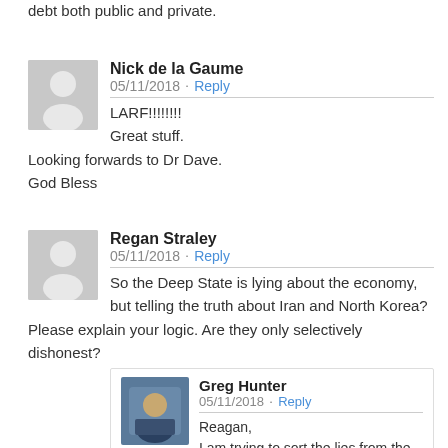debt both public and private.
Nick de la Gaume
05/11/2018 • Reply
LARF!!!!!!
Great stuff.
Looking forwards to Dr Dave.
God Bless
Regan Straley
05/11/2018 • Reply
So the Deep State is lying about the economy, but telling the truth about Iran and North Korea? Please explain your logic. Are they only selectively dishonest?
Greg Hunter
05/11/2018 • Reply
Reagan,
I am trying to sort the lies from the